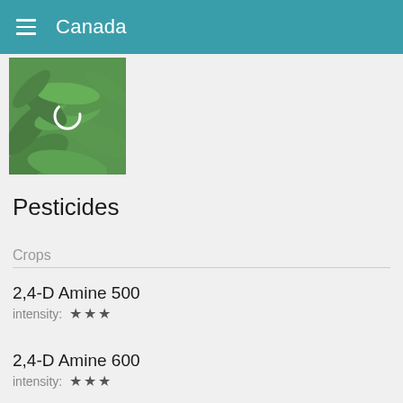Canada
[Figure (photo): Green plant foliage with a loading spinner overlay, blurred background]
Pesticides
Crops
2,4-D Amine 500
intensity: ★★★
2,4-D Amine 600
intensity: ★★★